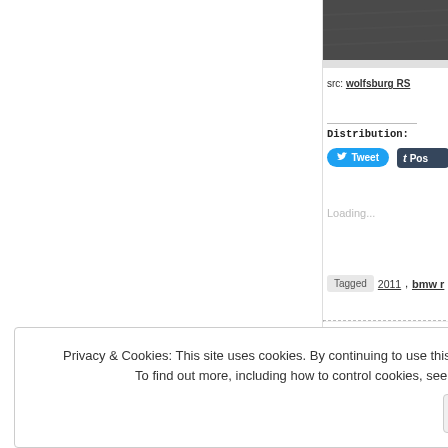[Figure (photo): Dark gray/charcoal textured surface thumbnail image at top right]
src: wolfsburg RS
Distribution:
Tweet
t Pos
Loading...
Tagged 2011, bmw r
Privacy & Cookies: This site uses cookies. By continuing to use this website, you agree to their use.
To find out more, including how to control cookies, see here: Cookie Policy
Close and accept